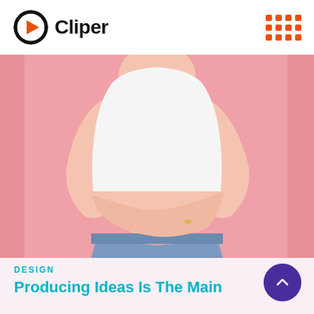Cliper
[Figure (photo): A woman in a white sleeveless top and denim shorts, standing against a pink background, with her arms crossed over her midsection showing her waist/belly area.]
DESIGN
Producing Ideas Is The Main